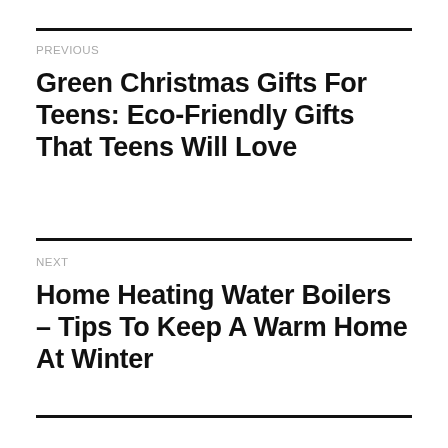PREVIOUS
Green Christmas Gifts For Teens: Eco-Friendly Gifts That Teens Will Love
NEXT
Home Heating Water Boilers – Tips To Keep A Warm Home At Winter